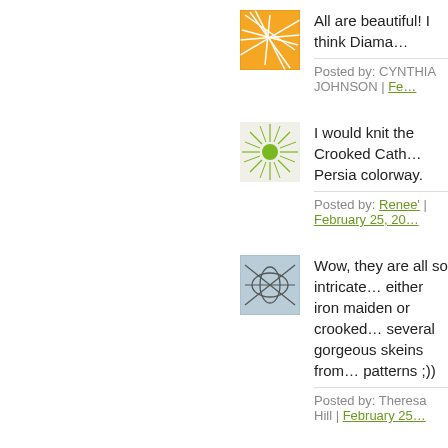[Figure (illustration): Orange abstract network pattern avatar]
All are beautiful! I think Diama…
Posted by: CYNTHIA JOHNSON | Fe…
[Figure (illustration): Green sunburst pattern avatar]
I would knit the Crooked Cath… Persia colorway.
Posted by: Renee' | February 25, 20…
[Figure (illustration): Blue abstract network pattern avatar]
Wow, they are all so intricate… either iron maiden or crooked… several gorgeous skeins from… patterns ;))
Posted by: Theresa Hill | February 25…
[Figure (illustration): Blue abstract network pattern avatar (second)]
Hmmm, I already posted, but… had to mention diamanté II a…
Posted by: Theresa Hill | February 25…
[Figure (illustration): Partially visible avatar at bottom]